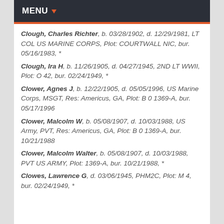MENU
Clough, Charles Richter, b. 03/28/1902, d. 12/29/1981, LT COL US MARINE CORPS, Plot: COURTWALL NIC, bur. 05/16/1983, *
Clough, Ira H, b. 11/26/1905, d. 04/27/1945, 2ND LT WWII, Plot: O 42, bur. 02/24/1949, *
Clower, Agnes J, b. 12/22/1905, d. 05/05/1996, US Marine Corps, MSGT, Res: Americus, GA, Plot: B 0 1369-A, bur. 05/17/1996
Clower, Malcolm W, b. 05/08/1907, d. 10/03/1988, US Army, PVT, Res: Americus, GA, Plot: B 0 1369-A, bur. 10/21/1988
Clower, Malcolm Walter, b. 05/08/1907, d. 10/03/1988, PVT US ARMY, Plot: 1369-A, bur. 10/21/1988, *
Clowes, Lawrence G, d. 03/06/1945, PHM2C, Plot: M 4, bur. 02/24/1949, *